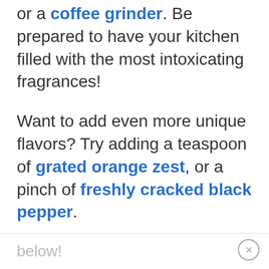or a coffee grinder. Be prepared to have your kitchen filled with the most intoxicating fragrances!
Want to add even more unique flavors? Try adding a teaspoon of grated orange zest, or a pinch of freshly cracked black pepper.
What are your favorite desserts to serve for fancier celebrations? What do you think of this blend of spices? We'd love to read your comments
below!